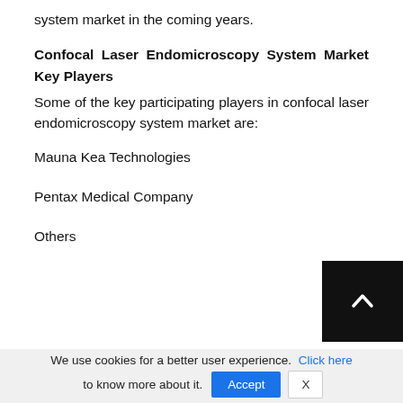system market in the coming years.
Confocal Laser Endomicroscopy System Market Key Players
Some of the key participating players in confocal laser endomicroscopy system market are:
Mauna Kea Technologies
Pentax Medical Company
Others
[Figure (other): Back to top button — black square with white upward-pointing chevron arrow]
We use cookies for a better user experience. Click here to know more about it. Accept X